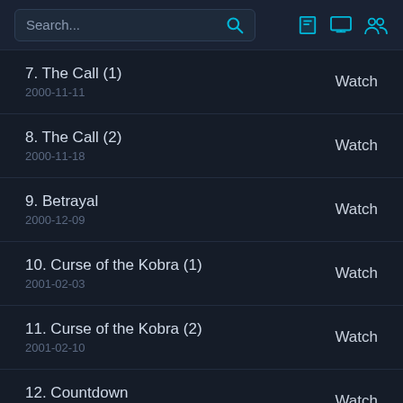Search...
7. The Call (1)
2000-11-11
Watch
8. The Call (2)
2000-11-18
Watch
9. Betrayal
2000-12-09
Watch
10. Curse of the Kobra (1)
2001-02-03
Watch
11. Curse of the Kobra (2)
2001-02-10
Watch
12. Countdown
2001-04-07
Watch